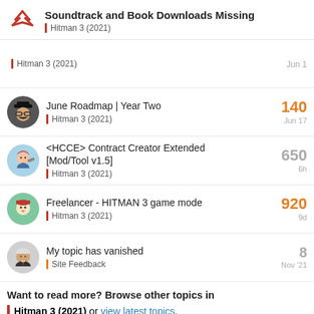Soundtrack and Book Downloads Missing | Hitman 3 (2021)
Hitman 3 (2021) | Jun 1
June Roadmap | Year Two | Hitman 3 (2021) | 140 | Jun 17
<HCCE> Contract Creator Extended [Mod/Tool v1.5] | Hitman 3 (2021) | 650 | 6h
Freelancer - HITMAN 3 game mode | Hitman 3 (2021) | 920 | 9d
My topic has vanished | Site Feedback | 8 | Nov '21
Want to read more? Browse other topics in Hitman 3 (2021) or view latest topics.